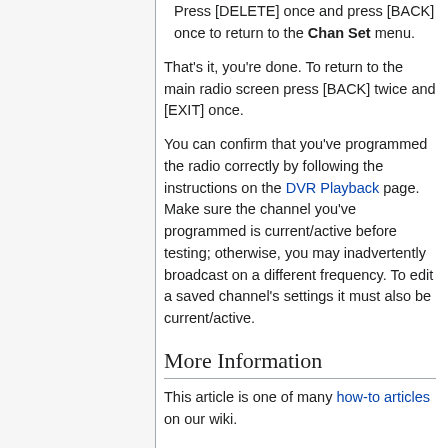Press [DELETE] once and press [BACK] once to return to the Chan Set menu.
That's it, you're done. To return to the main radio screen press [BACK] twice and [EXIT] once.
You can confirm that you've programmed the radio correctly by following the instructions on the DVR Playback page. Make sure the channel you've programmed is current/active before testing; otherwise, you may inadvertently broadcast on a different frequency. To edit a saved channel's settings it must also be current/active.
More Information
This article is one of many how-to articles on our wiki.